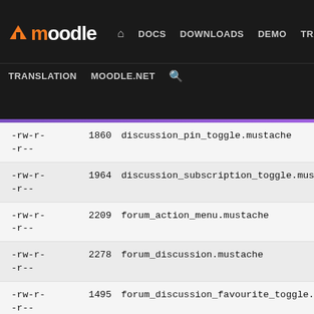Moodle - DOCS DOWNLOADS DEMO TRACKER DEV - TRANSLATION MOODLE.NET
-rw-r--r--  1860  discussion_pin_toggle.mustache
-rw-r--r--  1964  discussion_subscription_toggle.mustache
-rw-r--r--  2209  forum_action_menu.mustache
-rw-r--r--  2278  forum_discussion.mustache
-rw-r--r--  1495  forum_discussion_favourite_toggle.mustache
-rw-r--r--  1205  forum_discussion_nested_post.mustache
-rw-r--  1019  forum_discussion_nested_posts.mustache